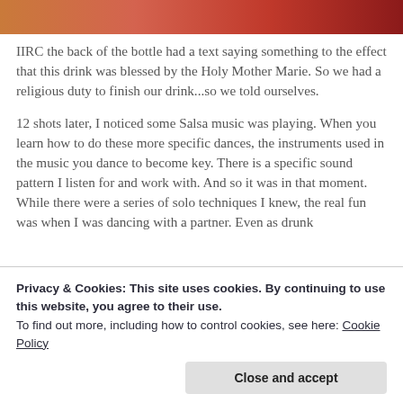[Figure (photo): Partial photo strip at top showing colorful background, likely food or drink related with orange and red tones.]
IIRC the back of the bottle had a text saying something to the effect that this drink was blessed by the Holy Mother Marie. So we had a religious duty to finish our drink...so we told ourselves.
12 shots later, I noticed some Salsa music was playing. When you learn how to do these more specific dances, the instruments used in the music you dance to become key. There is a specific sound pattern I listen for and work with. And so it was in that moment. While there were a series of solo techniques I knew, the real fun was when I was dancing with a partner. Even as drunk
Privacy & Cookies: This site uses cookies. By continuing to use this website, you agree to their use.
To find out more, including how to control cookies, see here: Cookie Policy
Close and accept